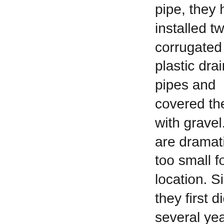pipe, they have installed two corrugated plastic drainage pipes and covered them with gravel. They are dramatically too small for the location. Since they first did this several years ago, the pipes are continuously clogged with leaves and sticks. The flow of water